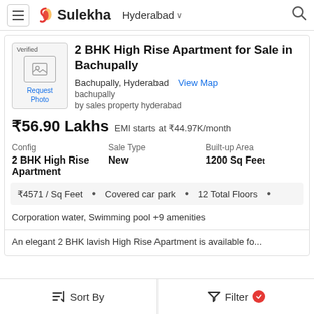Sulekha — Hyderabad
2 BHK High Rise Apartment for Sale in Bachupally
Bachupally, Hyderabad  View Map
bachupally
by sales property hyderabad
₹56.90 Lakhs   EMI starts at ₹44.97K/month
| Config | Sale Type | Built-up Area |
| --- | --- | --- |
| 2 BHK High Rise Apartment | New | 1200 Sq Feet |
₹4571 / Sq Feet  •  Covered car park  •  12 Total Floors  •
Corporation water, Swimming pool +9 amenities
An elegant 2 BHK lavish High Rise Apartment is available fo...
Sort By   Filter